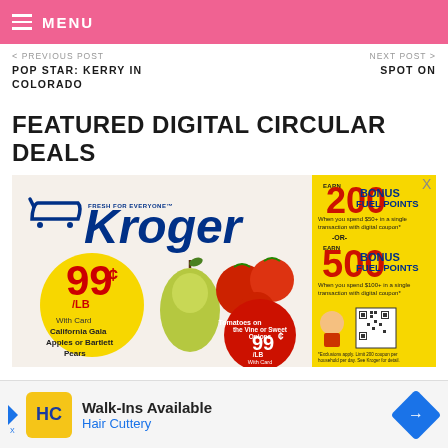MENU
< PREVIOUS POST
POP STAR: KERRY IN COLORADO
NEXT POST >
SPOT ON
FEATURED DIGITAL CIRCULAR DEALS
[Figure (photo): Kroger grocery store digital circular advertisement showing California Gala Apples or Bartlett Pears at 99¢/LB with Card, Tomatoes on the Vine or Sweet Onions at 99¢/LB with Card, and a yellow panel advertising EARN 200 BONUS FUEL POINTS when you spend $50+ in a single transaction with digital coupon, OR EARN 500 BONUS FUEL POINTS when you spend $100+ in a single transaction with digital coupon, with QR code.]
[Figure (infographic): Hair Cuttery advertisement banner: Walk-Ins Available, Hair Cuttery, with HC logo and blue diamond navigation arrow.]